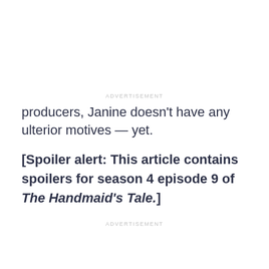ADVERTISEMENT
producers, Janine doesn't have any ulterior motives — yet.
[Spoiler alert: This article contains spoilers for season 4 episode 9 of The Handmaid's Tale.]
ADVERTISEMENT